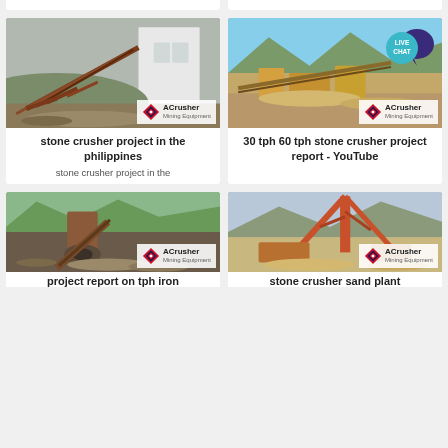[Figure (photo): Partial top strip showing two white card bottoms from previous row]
[Figure (photo): Stone crusher project industrial machinery with conveyor belts and building, ACrusher logo]
stone crusher project in the philippines
stone crusher project in the
[Figure (photo): Open-pit stone crusher site with mountains in background, ACrusher logo, Live Chat bubble]
30 tph 60 tph stone crusher project report - YouTube
[Figure (photo): Stone crusher machinery with cone crusher and conveyor, ACrusher logo]
project report on tph iron
[Figure (photo): Stone crusher sand plant with conveyor belt structure and mountains, ACrusher logo]
stone crusher sand plant